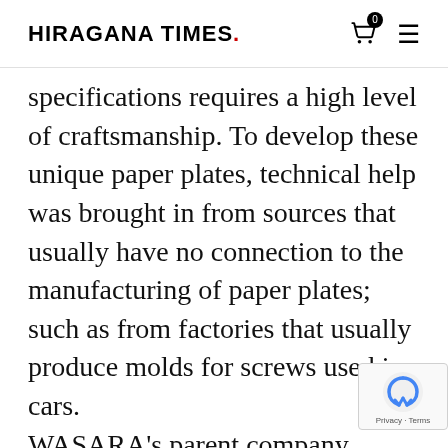HIRAGANA TIMES.
specifications requires a high level of craftsmanship. To develop these unique paper plates, technical help was brought in from sources that usually have no connection to the manufacturing of paper plates; such as from factories that usually produce molds for screws used in cars.
WASARA's parent company, Itokei Co. Ltd., manufactures and sells containers for desserts and ice cream. In the days